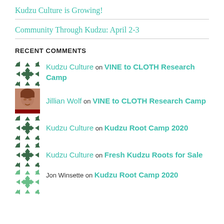Kudzu Culture is Growing!
Community Through Kudzu: April 2-3
RECENT COMMENTS
Kudzu Culture on VINE to CLOTH Research Camp
Jillian Wolf on VINE to CLOTH Research Camp
Kudzu Culture on Kudzu Root Camp 2020
Kudzu Culture on Fresh Kudzu Roots for Sale
Jon Winsette on Kudzu Root Camp 2020